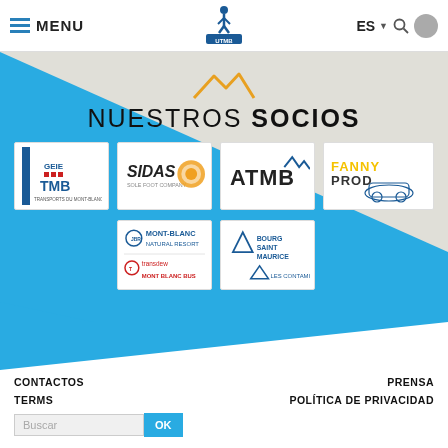MENU | UTMB MONT-BLANC logo | ES ▼ 🔍 👤
NUESTROS SOCIOS
[Figure (logo): TMB GEIE - Transports du Mont Blanc logo]
[Figure (logo): SIDAS - Sole Foot Company logo with circular icon]
[Figure (logo): ATMB logo with mountain graphic]
[Figure (logo): FANNY PROD logo in yellow and black]
[Figure (logo): Mont-Blanc Natural Resort / Transdew Mont Blanc Bus logo]
[Figure (logo): Bourg Saint Maurice / Les Contamines logo]
CONTACTOS | PRENSA | TERMS | POLÍTICA DE PRIVACIDAD | Buscar OK